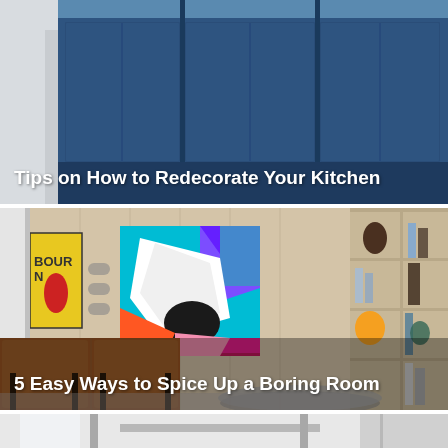[Figure (photo): Photo of a kitchen with blue upper cabinets against a white wall, showing modern flat-panel cabinetry in dark navy blue]
Tips on How to Redecorate Your Kitchen
[Figure (photo): Photo of a modern living room with a colorful abstract painting (teal, purple, white, magenta, orange) hung on a light wood paneled wall, a built-in wooden bookshelf with various decorative items, and two brown leather chairs in the foreground]
5 Easy Ways to Spice Up a Boring Room
[Figure (photo): Partial photo of a bright room with what appears to be a table and light-colored interior]